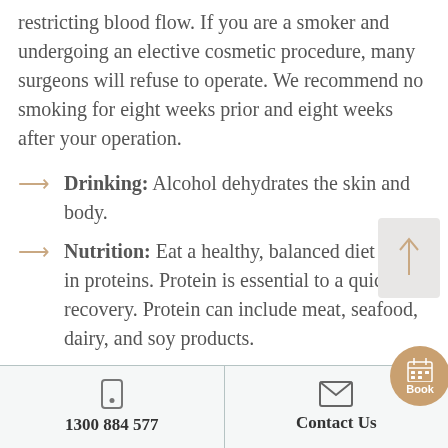restricting blood flow. If you are a smoker and undergoing an elective cosmetic procedure, many surgeons will refuse to operate. We recommend no smoking for eight weeks prior and eight weeks after your operation.
Drinking: Alcohol dehydrates the skin and body.
Nutrition: Eat a healthy, balanced diet rich in proteins. Protein is essential to a quick recovery. Protein can include meat, seafood, dairy, and soy products.
Hydration: Drink plenty of water. Limit tea
1300 884 577   Contact Us   Book